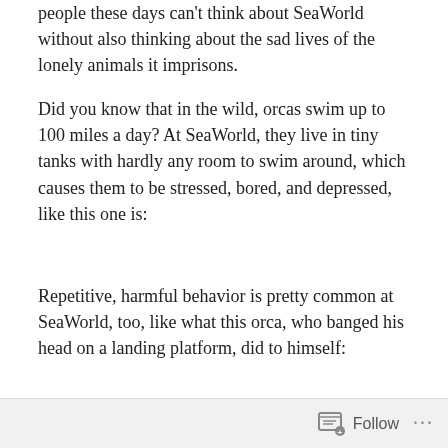people these days can't think about SeaWorld without also thinking about the sad lives of the lonely animals it imprisons.
Did you know that in the wild, orcas swim up to 100 miles a day? At SeaWorld, they live in tiny tanks with hardly any room to swim around, which causes them to be stressed, bored, and depressed, like this one is:
Repetitive, harmful behavior is pretty common at SeaWorld, too, like what this orca, who banged his head on a landing platform, did to himself:
The constant stress of confinement causes unusual
Follow ...